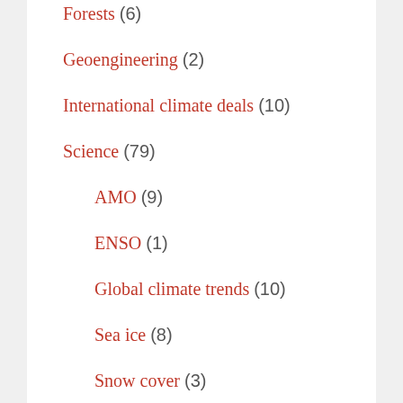Forests (6)
Geoengineering (2)
International climate deals (10)
Science (79)
AMO (9)
ENSO (1)
Global climate trends (10)
Sea ice (8)
Snow cover (3)
UK climate trends (36)
Volcanoes (2)
Globalisation (2)
Language (?)